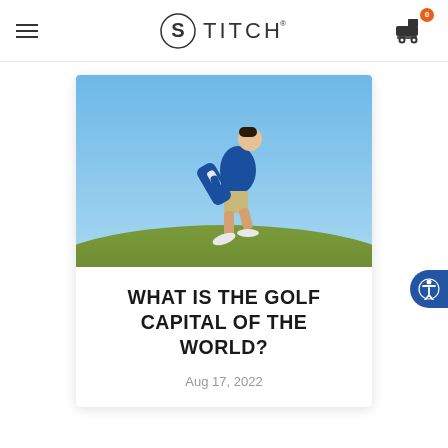Stitch Golf — navigation header with hamburger menu, Stitch logo, and shopping cart with badge 0
[Figure (photo): A man walking on a golf course carrying a blue Stitch golf bag, wearing a blue jacket and khaki shorts against a blue sky background]
WHAT IS THE GOLF CAPITAL OF THE WORLD?
Aug 17, 2022